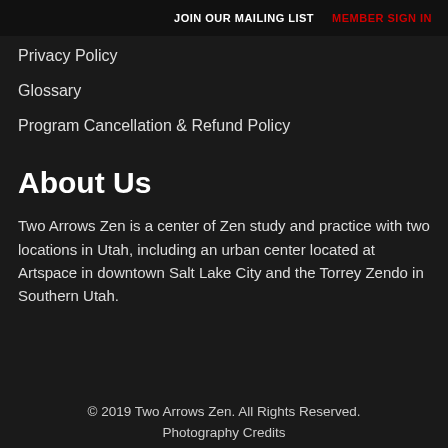JOIN OUR MAILING LIST   MEMBER SIGN IN
Privacy Policy
Glossary
Program Cancellation & Refund Policy
About Us
Two Arrows Zen is a center of Zen study and practice with two locations in Utah, including an urban center located at Artspace in downtown Salt Lake City and the Torrey Zendo in Southern Utah.
© 2019 Two Arrows Zen. All Rights Reserved.
Photography Credits